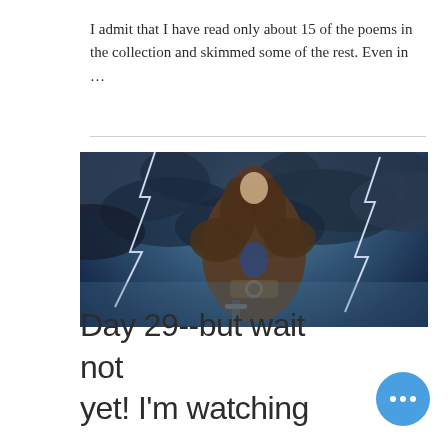I admit that I have read only about 15 of the poems in the collection and skimmed some of the rest. Even in ...
[Figure (photo): A warrior figure with long brown hair wearing fur and leather armor, holding a sword, standing against a dramatic stormy sky with lightning bolts. The image resembles a movie or TV show promotional photo (Highlander style).]
Day 29--but wait not yet! I'm watching